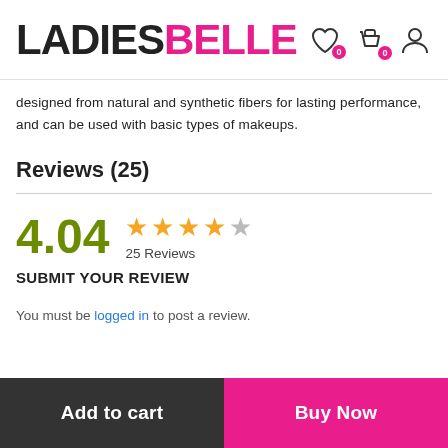LADIESBELLE
designed from natural and synthetic fibers for lasting performance, and can be used with basic types of makeups.
Reviews (25)
[Figure (other): Rating display showing 4.04 out of 5 stars with 4 filled stars and 1 empty star, labeled 25 Reviews]
SUBMIT YOUR REVIEW
You must be logged in to post a review.
Add to cart | Buy Now